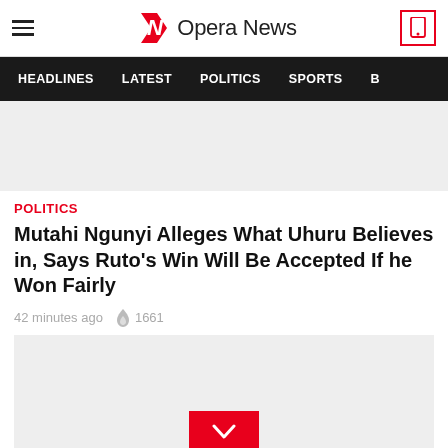Opera News
HEADLINES   LATEST   POLITICS   SPORTS
[Figure (other): Advertisement banner placeholder (light grey rectangle)]
POLITICS
Mutahi Ngunyi Alleges What Uhuru Believes in, Says Ruto's Win Will Be Accepted If he Won Fairly
42 minutes ago  🔥 1661
[Figure (other): Advertisement banner placeholder with red chevron/scroll down button at bottom center]